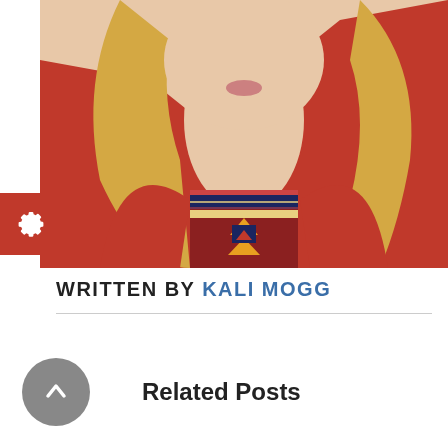[Figure (photo): Portrait photo of a woman with blonde hair wearing a red blazer and patterned top, cropped at shoulder/chest level. A red settings/gear icon button is visible in the lower-left of the photo.]
WRITTEN BY KALI MOGG
Related Posts